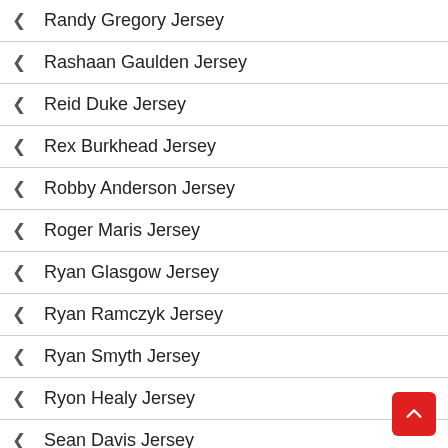Randy Gregory Jersey
Rashaan Gaulden Jersey
Reid Duke Jersey
Rex Burkhead Jersey
Robby Anderson Jersey
Roger Maris Jersey
Ryan Glasgow Jersey
Ryan Ramczyk Jersey
Ryan Smyth Jersey
Ryon Healy Jersey
Sean Davis Jersey